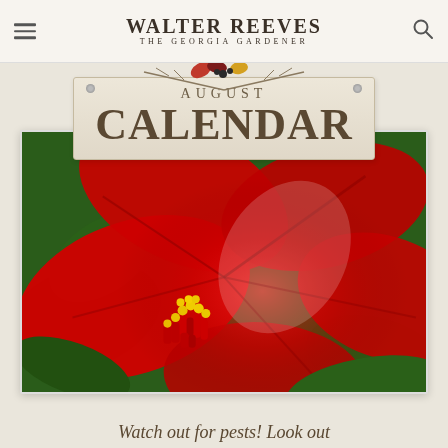Walter Reeves — The Georgia Gardener
August Calendar
[Figure (photo): Close-up photograph of a large red hibiscus flower with yellow stamen, surrounded by green leaves]
Watch out for pests! Look out